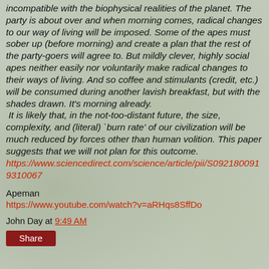incompatible with the biophysical realities of the planet. The party is about over and when morning comes, radical changes to our way of living will be imposed. Some of the apes must sober up (before morning) and create a plan that the rest of the party-goers will agree to. But mildly clever, highly social apes neither easily nor voluntarily make radical changes to their ways of living. And so coffee and stimulants (credit, etc.) will be consumed during another lavish breakfast, but with the shades drawn. It's morning already.  It is likely that, in the not-too-distant future, the size, complexity, and (literal) `burn rate' of our civilization will be much reduced by forces other than human volition. This paper suggests that we will not plan for this outcome. https://www.sciencedirect.com/science/article/pii/S092180091​9310067
Apeman
https://www.youtube.com/watch?v=aRHqs8SffDo
John Day at 9:49 AM
Share